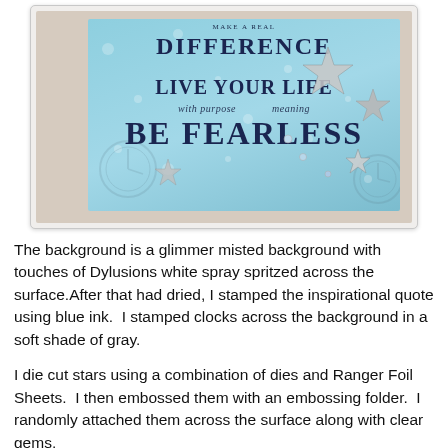[Figure (photo): A handmade craft card with light blue/teal background featuring stamped inspirational text including 'MAKE A REAL DIFFERENCE', 'LIVE YOUR LIFE', 'with purpose...meaning', and 'BE FEARLESS' in dark navy blue ink. The card is decorated with silver metallic foil star die cuts and clear gems scattered across the surface. The card appears to have a deckled or textured edge and is photographed on a beige/tan background.]
The background is a glimmer misted background with touches of Dylusions white spray spritzed across the surface.After that had dried, I stamped the inspirational quote using blue ink.  I stamped clocks across the background in a soft shade of gray.
I die cut stars using a combination of dies and Ranger Foil Sheets.  I then embossed them with an embossing folder.  I randomly attached them across the surface along with clear gems.